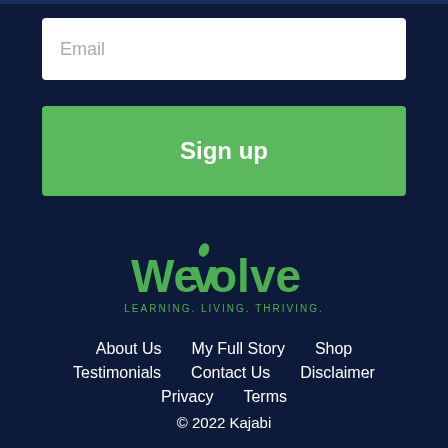Email
Sign up
[Figure (logo): Wevolve logo with text LEARNING. LIVING. THRIVING.]
About Us
My Full Story
Shop
Testimonials
Contact Us
Disclaimer
Privacy
Terms
© 2022 Kajabi